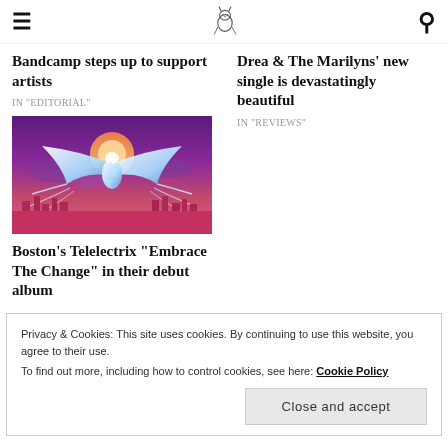≡ [site logo] 🔍
Bandcamp steps up to support artists
IN "EDITORIAL"
Drea & The Marilyns' new single is devastatingly beautiful
IN "REVIEWS"
[Figure (illustration): Digital illustration of a glowing white phoenix/eagle with outstretched wings against a purple and orange sky, with a city skyline silhouette below.]
Boston's Telelectrix "Embrace The Change" in their debut album
Privacy & Cookies: This site uses cookies. By continuing to use this website, you agree to their use.
To find out more, including how to control cookies, see here: Cookie Policy